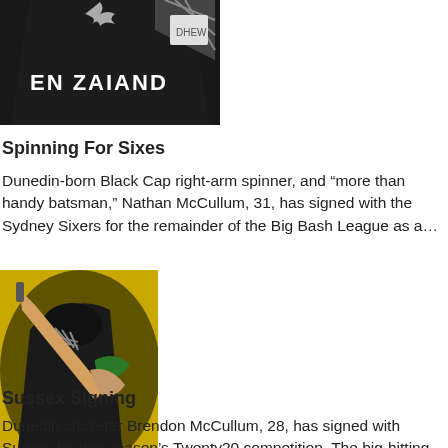[Figure (photo): Cricket player wearing a black New Zealand (NZ) jersey with silver fern logo, partial upper body view]
Spinning For Sixes
Dunedin-born Black Cap right-arm spinner, and “more than handy batsman,” Nathan McCullum, 31, has signed with the Sydney Sixers for the remainder of the Big Bash League as a…
[Figure (photo): Cricket batsman in batting stance wearing a black and yellow uniform and helmet with face guard, mid-swing with bat raised]
Sussex Signing
Dunedin cricketer Brendon McCullum, 28, has signed with Sussex for this season’s Twenty20 competition. The big-hitting wicketkeeper-